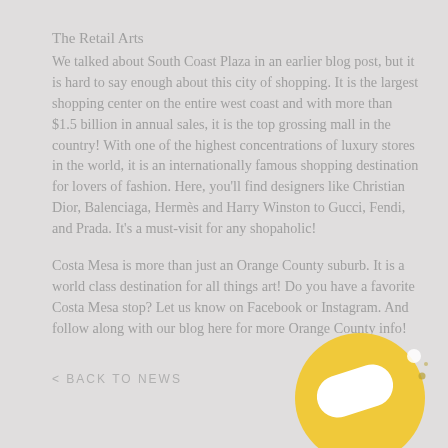The Retail Arts
We talked about South Coast Plaza in an earlier blog post, but it is hard to say enough about this city of shopping. It is the largest shopping center on the entire west coast and with more than $1.5 billion in annual sales, it is the top grossing mall in the country! With one of the highest concentrations of luxury stores in the world, it is an internationally famous shopping destination for lovers of fashion. Here, you'll find designers like Christian Dior, Balenciaga, Hermès and Harry Winston to Gucci, Fendi, and Prada. It's a must-visit for any shopaholic!
Costa Mesa is more than just an Orange County suburb. It is a world class destination for all things art! Do you have a favorite Costa Mesa stop? Let us know on Facebook or Instagram. And follow along with our blog here for more Orange County info!
< BACK TO NEWS
[Figure (logo): Yellow circular logo with a white pill/capsule shape inside and small dot accents]